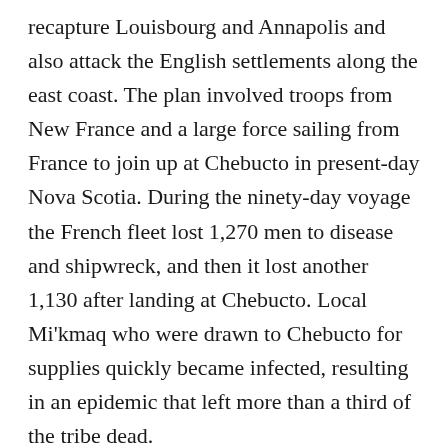recapture Louisbourg and Annapolis and also attack the English settlements along the east coast. The plan involved troops from New France and a large force sailing from France to join up at Chebucto in present-day Nova Scotia. During the ninety-day voyage the French fleet lost 1,270 men to disease and shipwreck, and then it lost another 1,130 after landing at Chebucto. Local Mi'kmaq who were drawn to Chebucto for supplies quickly became infected, resulting in an epidemic that left more than a third of the tribe dead.
It has been suggested that smallpox was used as a biological weapon against First Nations, especially during the 1750s and 1760s in the midst of the wars between the English and the French. The accounts in the